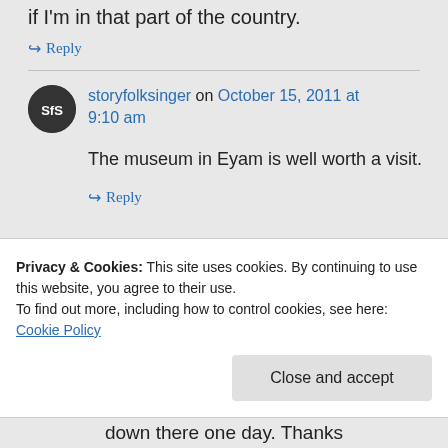if I'm in that part of the country.
↪ Reply
storyfolksinger on October 15, 2011 at 9:10 am
The museum in Eyam is well worth a visit.
↪ Reply
Privacy & Cookies: This site uses cookies. By continuing to use this website, you agree to their use.
To find out more, including how to control cookies, see here: Cookie Policy
Close and accept
down there one day. Thanks